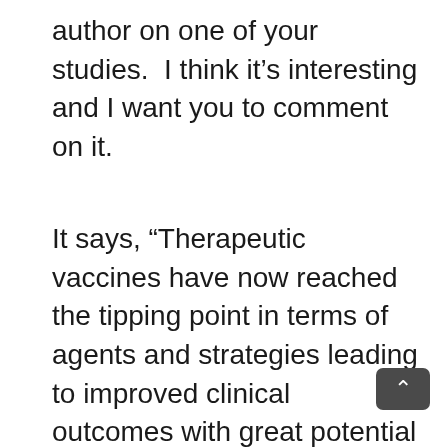author on one of your studies.  I think it’s interesting and I want you to comment on it.
It says, “Therapeutic vaccines have now reached the tipping point in terms of agents and strategies leading to improved clinical outcomes with great potential for the use of vaccines in combination with chemotherapy, radiation, hormonal therapy and/or small molecule targeted therapeutic agents, all with limited toxicity in men